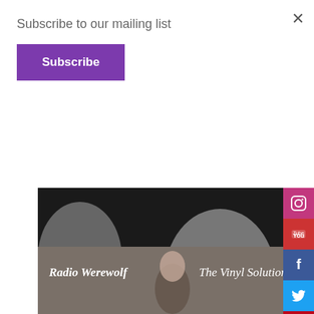Subscribe to our mailing list
Subscribe
[Figure (photo): Close-up photo of a 'Beatdom 12' magazine cover with red handwritten text on black and white background]
To go with the Kiss Kiss...Bang Bang t-shirt, 'Beatdom' magazines Crime Issue #12. Personalized autograph options also offered.
[Figure (photo): Radio Werewolf - The Vinyl Solution album or magazine cover with woman's portrait in sepia tone]